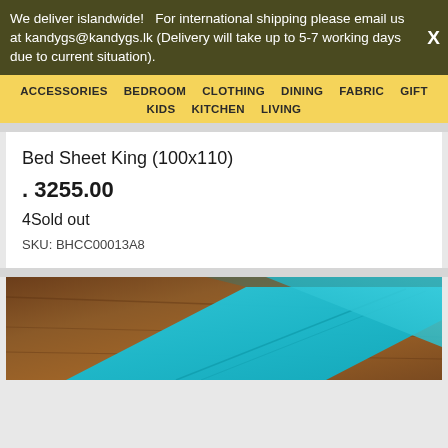We deliver islandwide!   For international shipping please email us at kandygs@kandygs.lk (Delivery will take up to 5-7 working days due to current situation).  X
ACCESSORIES   BEDROOM   CLOTHING   DINING   FABRIC   GIFT   KIDS   KITCHEN   LIVING
Bed Sheet King (100x110)
. 3255.00
4Sold out
SKU: BHCC00013A8
[Figure (photo): A cyan/turquoise folded bed sheet placed on a brown wooden surface, photographed from above at an angle.]